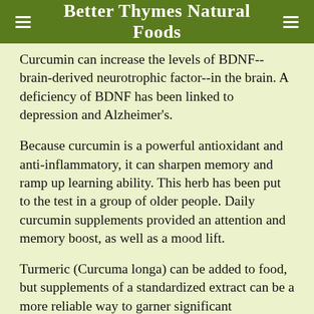Better Thymes Natural Foods
Curcumin can increase the levels of BDNF--brain-derived neurotrophic factor--in the brain. A deficiency of BDNF has been linked to depression and Alzheimer's.
Because curcumin is a powerful antioxidant and anti-inflammatory, it can sharpen memory and ramp up learning ability. This herb has been put to the test in a group of older people. Daily curcumin supplements provided an attention and memory boost, as well as a mood lift.
Turmeric (Curcuma longa) can be added to food, but supplements of a standardized extract can be a more reliable way to garner significant therapeutic effects. A few...